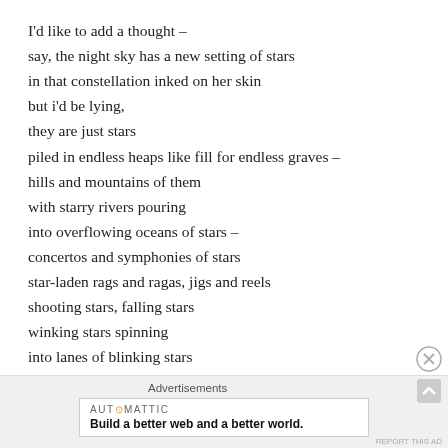I'd like to add a thought –
say, the night sky has a new setting of stars
in that constellation inked on her skin
but i'd be lying,
they are just stars
piled in endless heaps like fill for endless graves –
hills and mountains of them
with starry rivers pouring
into overflowing oceans of stars –
concertos and symphonies of stars
star-laden rags and ragas, jigs and reels
shooting stars, falling stars
winking stars spinning
into lanes of blinking stars
Advertisements
AUTOMATTIC
Build a better web and a better world.